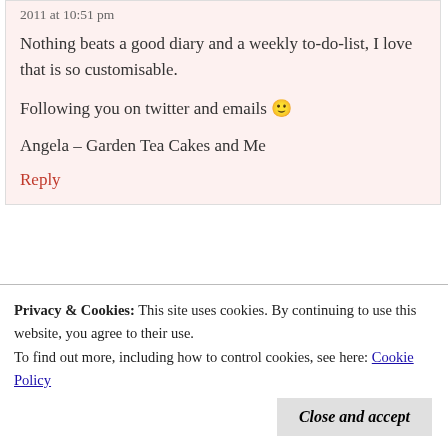2011 at 10:51 pm
Nothing beats a good diary and a weekly to-do-list, I love that is so customisable.
Following you on twitter and emails 🙂
Angela – Garden Tea Cakes and Me
Reply
Privacy & Cookies: This site uses cookies. By continuing to use this website, you agree to their use. To find out more, including how to control cookies, see here: Cookie Policy
Close and accept
mine if I wor!